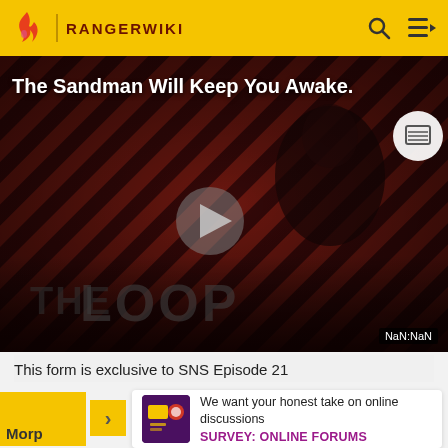RANGERWIKI
[Figure (screenshot): Video player showing 'The Sandman Will Keep You Awake.' with a dark figure on a red/brown striped background. Play button visible in center. THE LOOP text at bottom. NaN:NaN timer shown at bottom right.]
This form is exclusive to SNS Episode 21
We want your honest take on online discussions
SURVEY: ONLINE FORUMS